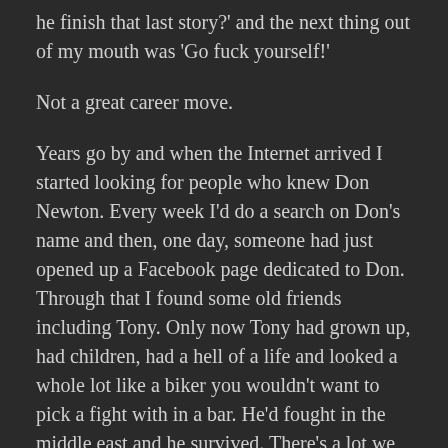he finish that last story?' and the next thing out of my mouth was 'Go fuck yourself!'
Not a great career move.
Years go by and when the Internet arrived I started looking for people who knew Don Newton. Every week I'd do a search on Don's name and then, one day, someone had just opened up a Facebook page dedicated to Don. Through that I found some old friends including Tony. Only now Tony had grown up, had children, had a hell of a life and looked a whole lot like a biker you wouldn't want to pick a fight with in a bar. He'd fought in the middle east and he survived. There's a lot we talked about this past year, most I'll probably never reveal because we were both pretty open about our faults, lives and semi-legal actions here and there.
He was also paralyzed from the waist down, missing a lot of flesh and confined to a bed. He never gave up on much of anything and I told him I'd like to ink some of his pencils...They were impressive